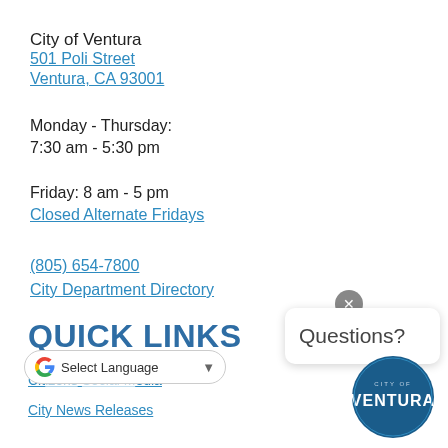City of Ventura
501 Poli Street
Ventura, CA 93001
Monday - Thursday:
7:30 am - 5:30 pm
Friday: 8 am - 5 pm
Closed Alternate Fridays
(805) 654-7800
City Department Directory
QUICK LINKS
City... ...edia
City News Releases